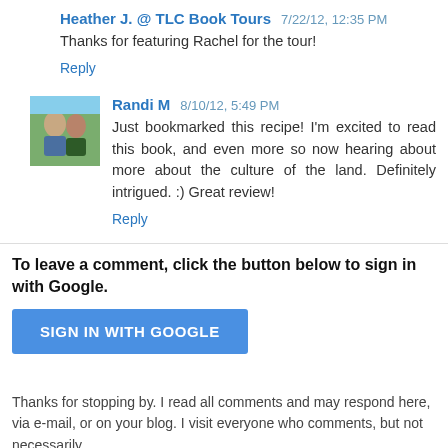Heather J. @ TLC Book Tours  7/22/12, 12:35 PM
Thanks for featuring Rachel for the tour!
Reply
Randi M  8/10/12, 5:49 PM
Just bookmarked this recipe! I'm excited to read this book, and even more so now hearing about more about the culture of the land. Definitely intrigued. :) Great review!
Reply
To leave a comment, click the button below to sign in with Google.
SIGN IN WITH GOOGLE
Thanks for stopping by. I read all comments and may respond here, via e-mail, or on your blog. I visit everyone who comments, but not necessarily